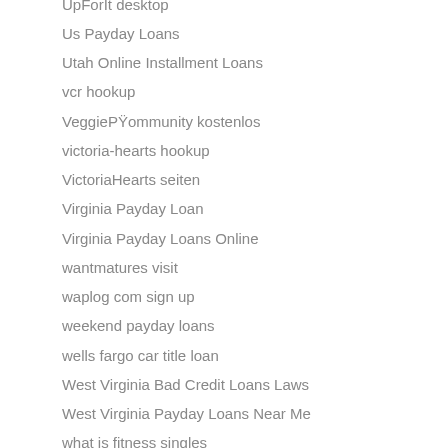UpForIt desktop
Us Payday Loans
Utah Online Installment Loans
vcr hookup
VeggiePŸommunity kostenlos
victoria-hearts hookup
VictoriaHearts seiten
Virginia Payday Loan
Virginia Payday Loans Online
wantmatures visit
waplog com sign up
weekend payday loans
wells fargo car title loan
West Virginia Bad Credit Loans Laws
West Virginia Payday Loans Near Me
what is fitness singles